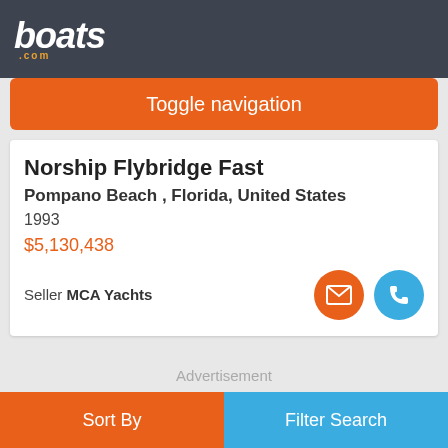boats.com
Toggle navigation
Norship Flybridge Fast
Pompano Beach , Florida, United States
1993
$5,130,438
Seller MCA Yachts
Advertisement
Sort By | Filter Search